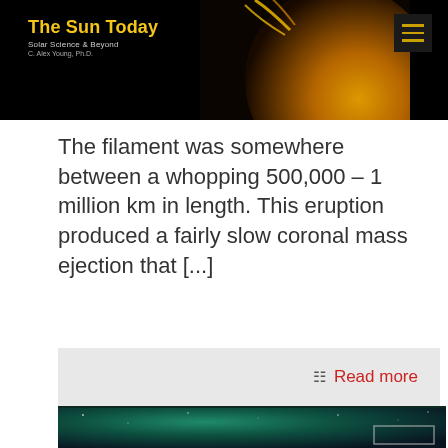The Sun Today | Solar Science & Beyond | C. Alex Young, Ph.D.
The filament was somewhere between a whopping 500,000 – 1 million km in length. This eruption produced a fairly slow coronal mass ejection that [...]
Read more
[Figure (photo): Night sky photograph showing aurora or green glow over dark landscape with stars visible]